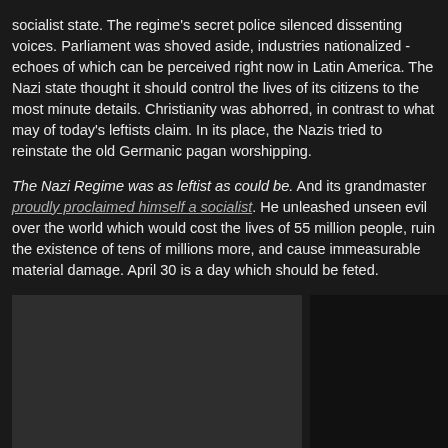socialist state. The regime's secret police silenced dissenting voices. Parliament was shoved aside, industries nationalized - echoes of which can be perceived right now in Latin America. The Nazi state thought it should control the lives of its citizens to the most minute details. Christianity was abhorred, in contrast to what may of today's leftists claim. In its place, the Nazis tried to reinstate the old Germanic pagan worshipping.
The Nazi Regime was as leftist as could be. And its grandmaster proudly proclaimed himself a socialist. He unleashed unseen evil over the world which would cost the lives of 55 million people, ruin the existence of tens of millions more, and cause immeasurable material damage. April 30 is a day which should be feted.
[Figure (photo): Dark image placeholder, partially visible at bottom of page]